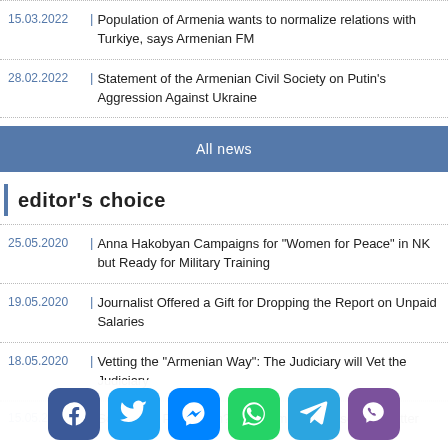15.03.2022 | Population of Armenia wants to normalize relations with Turkiye, says Armenian FM
28.02.2022 | Statement of the Armenian Civil Society on Putin’s Aggression Against Ukraine
All news
editor’s choice
25.05.2020 | Anna Hakobyan Campaigns for “Women for Peace” in NK but Ready for Military Training
19.05.2020 | Journalist Offered a Gift for Dropping the Report on Unpaid Salaries
18.05.2020 | Vetting the “Armenian Way”: The Judiciary will Vet the Judiciary
15.05.2020 | Science or Plagiarism? Government Chooses the Latter